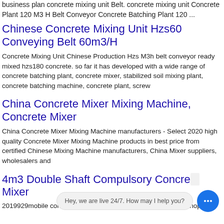business plan concrete mixing unit Belt. concrete mixing unit Concrete Plant 120 M3 H Belt Conveyor Concrete Batching Plant 120 ...
Chinese Concrete Mixing Unit Hzs60 Conveying Belt 60m3/H
Concrete Mixing Unit Chinese Production Hzs M3h belt conveyor ready mixed hzs180 concrete. so far it has developed with a wide range of concrete batching plant, concrete mixer, stabilized soil mixing plant, concrete batching machine, concrete plant, screw
China Concrete Mixer Mixing Machine, Concrete Mixer
China Concrete Mixer Mixing Machine manufacturers - Select 2020 high quality Concrete Mixer Mixing Machine products in best price from certified Chinese Mixing Machine manufacturers, China Mixer suppliers, wholesalers and
4m3 Double Shaft Compulsory Concrete Mixer
2019929mobile concrete mixing machine 4m3 mixing capacity hopalier